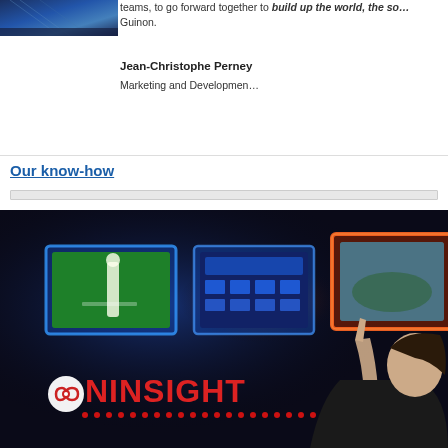[Figure (photo): Photo of a city bridge with blue tones, partially visible at top left]
teams, to go forward together to build up the world, the so… Guinon.
Jean-Christophe Perney
Marketing and Development
Our know-how
[Figure (photo): Promotional image for NINSIGHT product showing a woman pointing at floating screens displaying sports and weather content, with the NINSIGHT logo at bottom left]